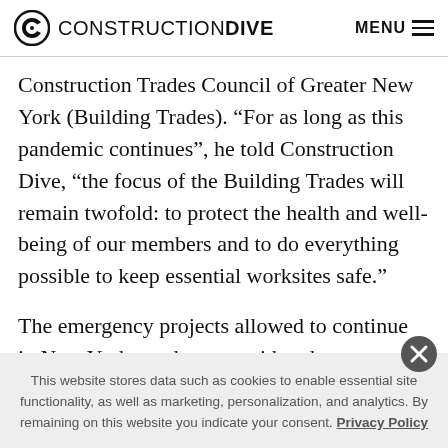CONSTRUCTION DIVE   MENU
Construction Trades Council of Greater New York (Building Trades). “For as long as this pandemic continues”, he told Construction Dive, “the focus of the Building Trades will remain twofold: to protect the health and well-being of our members and to do everything possible to keep essential worksites safe.”
The emergency projects allowed to continue in New York are those considered necessary to protect the health and
This website stores data such as cookies to enable essential site functionality, as well as marketing, personalization, and analytics. By remaining on this website you indicate your consent. Privacy Policy